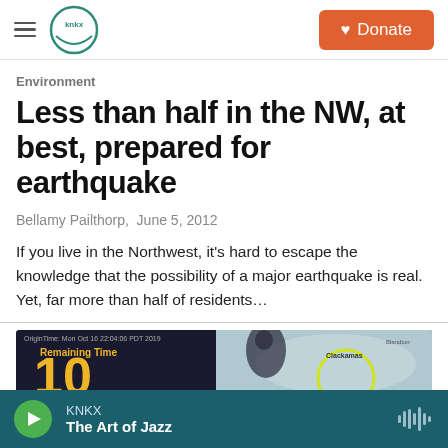KNKX | Donate
Environment
Less than half in the NW, at best, prepared for earthquake
Bellamy Pailthorp, June 5, 2012
If you live in the Northwest, it's hard to escape the knowledge that the possibility of a major earthquake is real. Yet, far more than half of residents...
[Figure (screenshot): Screenshot of an earthquake alert showing 'Remaining Time' with a large number '10' in yellow/orange, and a map showing an area near Portland/Clackamas, Oregon.]
KNKX
The Art of Jazz